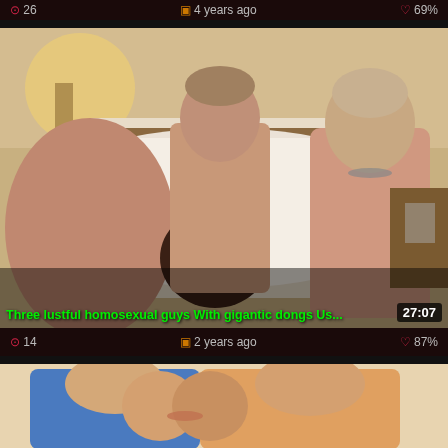26  4 years ago  69%
[Figure (photo): Video thumbnail showing three men in a hotel room. Title overlay: 'Three lustful homosexual guys With gigantic dongs Us...' Duration: 27:07]
14  2 years ago  87%
[Figure (photo): Partial video thumbnail showing two men kissing, one in blue shirt]